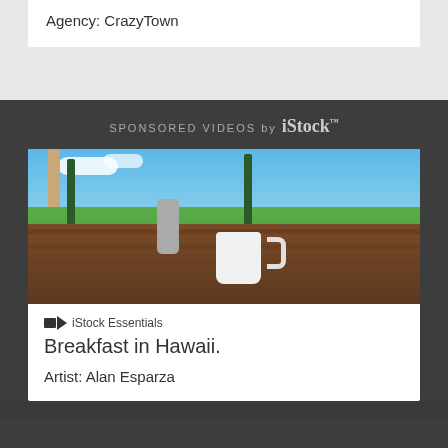Agency: CrazyTown
SPONSORED VIDEOS by iStock
[Figure (photo): Breakfast table scene in Hawaii with a white coffee mug, silver pitcher, glasses, and a plate on a wooden deck overlooking a green lawn with palm trees and a blue sky.]
iStock Essentials
Breakfast in Hawaii.
Artist: Alan Esparza